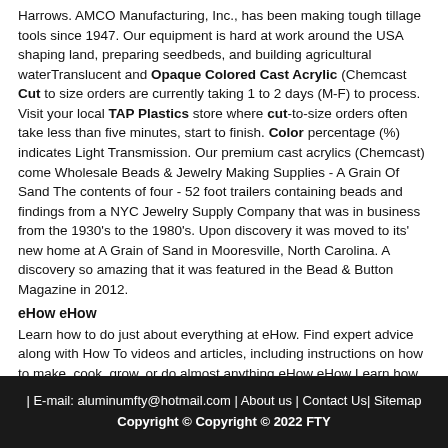Harrows. AMCO Manufacturing, Inc., has been making tough tillage tools since 1947. Our equipment is hard at work around the USA shaping land, preparing seedbeds, and building agricultural waterTranslucent and Opaque Colored Cast Acrylic (Chemcast Cut to size orders are currently taking 1 to 2 days (M-F) to process. Visit your local TAP Plastics store where cut-to-size orders often take less than five minutes, start to finish. Color percentage (%) indicates Light Transmission. Our premium cast acrylics (Chemcast) come Wholesale Beads & Jewelry Making Supplies - A Grain Of Sand The contents of four - 52 foot trailers containing beads and findings from a NYC Jewelry Supply Company that was in business from the 1930's to the 1980's. Upon discovery it was moved to its' new home at A Grain of Sand in Mooresville, North Carolina. A discovery so amazing that it was featured in the Bead & Button Magazine in 2012.
eHow eHow
Learn how to do just about everything at eHow. Find expert advice along with How To videos and articles, including instructions on how to make, cook, grow, or do almost anything.eHow eHow Learn how to do just about everything at eHow. Find expert advice along with How To videos and articles, including instructions on how to make, cook, grow, or do almost anything.
| E-mail: aluminumfty@hotmail.com | About us | Contact Us| Sitemap Copyright © Copyright © 2022 FTY